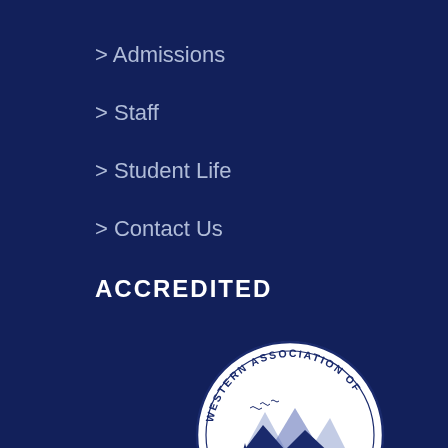> Admissions
> Staff
> Student Life
> Contact Us
ACCREDITED
[Figure (logo): Western Association of Schools and Colleges seal — circular badge with mountain landscape illustration in center, text reading 'WESTERN ASSOCIATION OF SCHOOLS AND COLLEGES' around the border and 'Accrediting Commission for Schools' in the center]